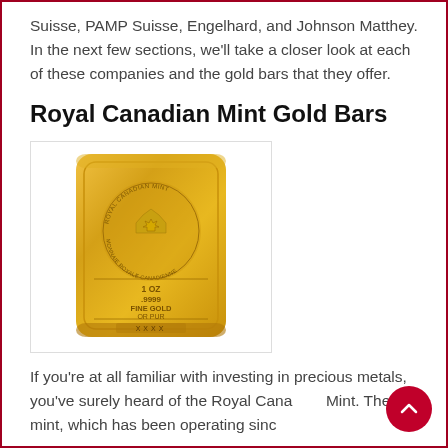Suisse, PAMP Suisse, Engelhard, and Johnson Matthey. In the next few sections, we'll take a closer look at each of these companies and the gold bars that they offer.
Royal Canadian Mint Gold Bars
[Figure (photo): A gold bar from the Royal Canadian Mint showing the maple leaf emblem, circular text reading ROYAL CANADIAN MINT / MONNAIE ROYALE CANADIENNE, and text reading 1 OZ .9999 FINE GOLD OR PUR with XXXX serial number.]
If you're at all familiar with investing in precious metals, you've surely heard of the Royal Canadian Mint. The mint, which has been operating since